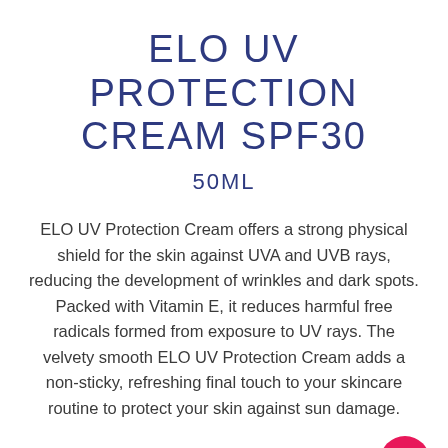ELO UV PROTECTION CREAM SPF30
50ML
ELO UV Protection Cream offers a strong physical shield for the skin against UVA and UVB rays, reducing the development of wrinkles and dark spots. Packed with Vitamin E, it reduces harmful free radicals formed from exposure to UV rays. The velvety smooth ELO UV Protection Cream adds a non-sticky, refreshing final touch to your skincare routine to protect your skin against sun damage.
[Figure (other): SHOP NOW button with shopping cart icon, dark navy blue background, white uppercase text and cart icon. Pink circular back-to-top arrow button at bottom right.]